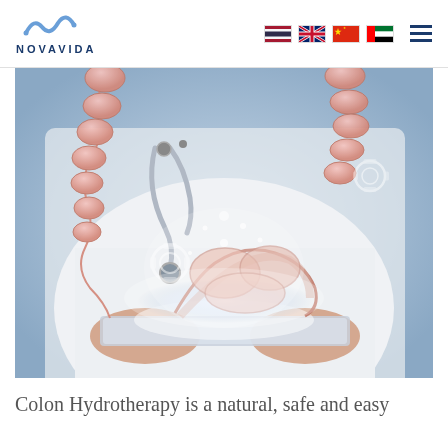NOVAVIDA — navigation with language flags and menu
[Figure (photo): Doctor in white coat holding a tablet from which a glowing holographic 3D model of the colon/intestines emerges, with a stethoscope visible and sparkle/gear digital effects around the anatomy model]
Colon Hydrotherapy is a natural, safe and easy